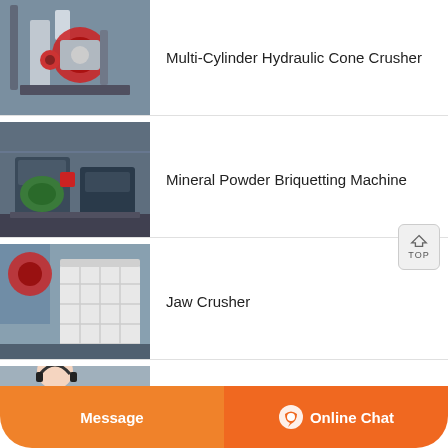[Figure (photo): Multi-Cylinder Hydraulic Cone Crusher industrial machine photo]
Multi-Cylinder Hydraulic Cone Crusher
[Figure (photo): Mineral Powder Briquetting Machine industrial machine photo]
Mineral Powder Briquetting Machine
[Figure (photo): Jaw Crusher industrial machine photo]
Jaw Crusher
[Figure (photo): Customer service person photo (partial)]
Message
Online Chat